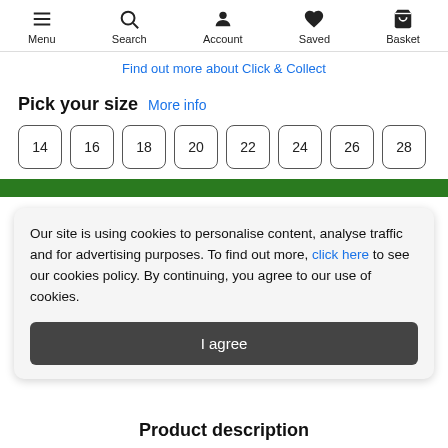Menu | Search | Account | Saved | Basket
Find out more about Click & Collect
Pick your size  More info
14
16
18
20
22
24
26
28
Our site is using cookies to personalise content, analyse traffic and for advertising purposes. To find out more, click here to see our cookies policy. By continuing, you agree to our use of cookies.
I agree
Product description